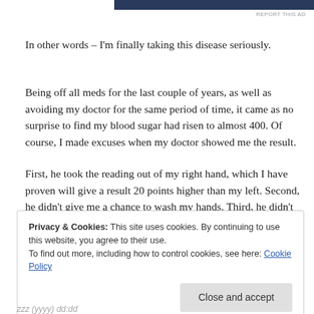[Figure (other): Dark blue advertisement banner bar at top of page with REPORT THIS AD label]
In other words – I'm finally taking this disease seriously.
Being off all meds for the last couple of years, as well as avoiding my doctor for the same period of time, it came as no surprise to find my blood sugar had risen to almost 400. Of course, I made excuses when my doctor showed me the result.
First, he took the reading out of my right hand, which I have proven will give a result 20 points higher than my left. Second, he didn't give me a chance to wash my hands. Third, he didn't swab the area with alcohol first.
My doctor has this look he'll give me that I really think he should patent. Needless to say, I got that look.
Privacy & Cookies: This site uses cookies. By continuing to use this website, you agree to their use.
To find out more, including how to control cookies, see here: Cookie Policy
Close and accept